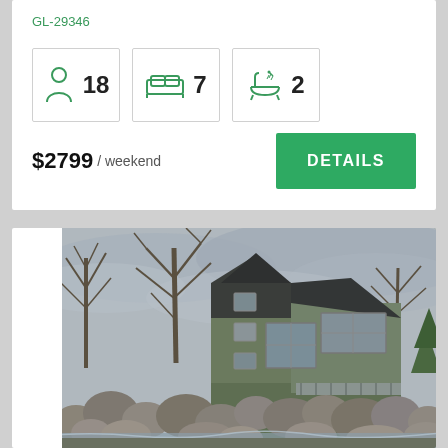GL-29346
18 guests, 7 bedrooms, 2 bathrooms
$2799 / weekend
DETAILS
[Figure (photo): Three-story green wooden house with dark roof, surrounded by large boulders and bare trees, with a waterfall or stream in the foreground, under overcast sky]